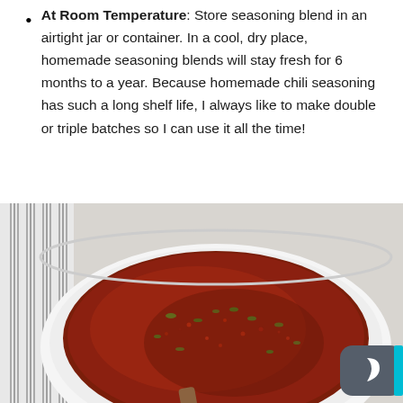At Room Temperature: Store seasoning blend in an airtight jar or container. In a cool, dry place, homemade seasoning blends will stay fresh for 6 months to a year. Because homemade chili seasoning has such a long shelf life, I always like to make double or triple batches so I can use it all the time!
[Figure (photo): Overhead photo of a white ceramic bowl filled with dark red chili seasoning blend with visible green herb flakes, placed on a light gray surface with a gray and white striped linen cloth on the left side. A dark mode toggle button with a crescent moon icon appears in the bottom right corner.]